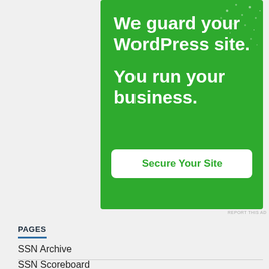[Figure (illustration): Green advertisement banner with white bold text 'We guard your WordPress site. You run your business.' and a white 'Secure Your Site' button on a green background with decorative dots.]
REPORT THIS AD
PAGES
SSN Archive
SSN Scoreboard